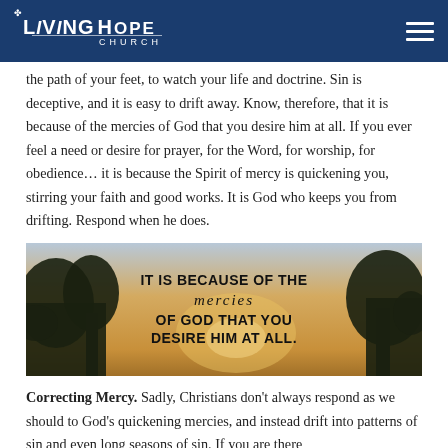Living Hope Church
the path of your feet, to watch your life and doctrine. Sin is deceptive, and it is easy to drift away. Know, therefore, that it is because of the mercies of God that you desire him at all. If you ever feel a need or desire for prayer, for the Word, for worship, for obedience… it is because the Spirit of mercy is quickening you, stirring your faith and good works. It is God who keeps you from drifting. Respond when he does.
[Figure (photo): Inspirational quote image with sunset/dusk sky and tree silhouettes. Text reads: IT IS BECAUSE OF THE mercies OF GOD THAT YOU DESIRE HIM AT ALL.]
Correcting Mercy. Sadly, Christians don't always respond as we should to God's quickening mercies, and instead drift into patterns of sin and even long seasons of sin. If you are there